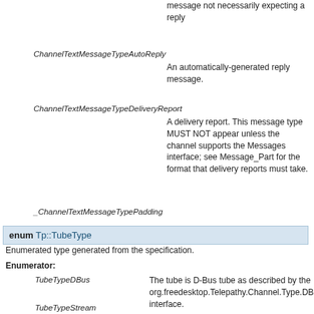message not necessarily expecting a reply
ChannelTextMessageTypeAutoReply
An automatically-generated reply message.
ChannelTextMessageTypeDeliveryReport
A delivery report. This message type MUST NOT appear unless the channel supports the Messages interface; see Message_Part for the format that delivery reports must take.
_ChannelTextMessageTypePadding
enum Tp::TubeType
Enumerated type generated from the specification.
Enumerator:
TubeTypeDBus
The tube is D-Bus tube as described by the org.freedesktop.Telepathy.Channel.Type.DBusTube interface.
TubeTypeStream